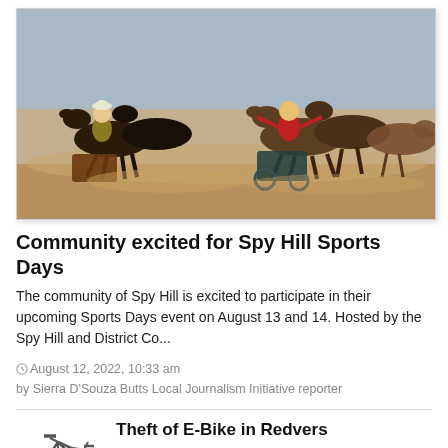[Figure (photo): Two chariots pulled by horses racing across a dusty track. One driver in yellow/gold outfit on the left, another in red on the right.]
Community excited for Spy Hill Sports Days
The community of Spy Hill is excited to participate in their upcoming Sports Days event on August 13 and 14. Hosted by the Spy Hill and District Co...
August 12, 2022, 10:33 am
by Sierra D'Souza Butts Local Journalism Initiative reporter
[Figure (photo): Thumbnail image of a bicycle (e-bike) in grayscale]
Theft of E-Bike in Redvers